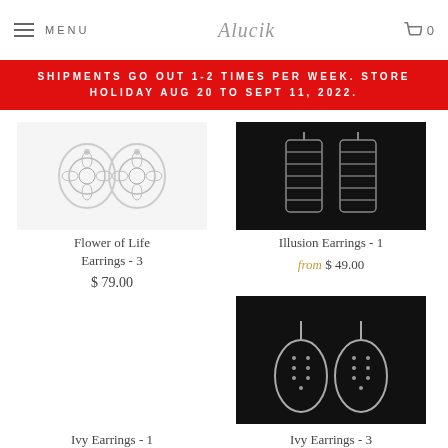MENU  Alucik  0
SHIPMENTS GO OUT 1-2 TIMES PER WEEK. STORE HOLIDAY AUG 20 TO SEPT 11, 2022.
[Figure (photo): Flower of Life Earrings - 3, silver earrings on white background]
Flower of Life Earrings - 3
$ 79.00
[Figure (photo): Illusion Earrings - 1, silver earrings on black background]
Illusion Earrings - 1
from $ 49.00
[Figure (photo): Ivy Earrings - 1, gold earrings on green leaf background, NEW badge]
Ivy Earrings - 1
from $ 39.00
[Figure (photo): Ivy Earrings - 3, silver teardrop earrings on black background]
Ivy Earrings - 3
from $ 49.00